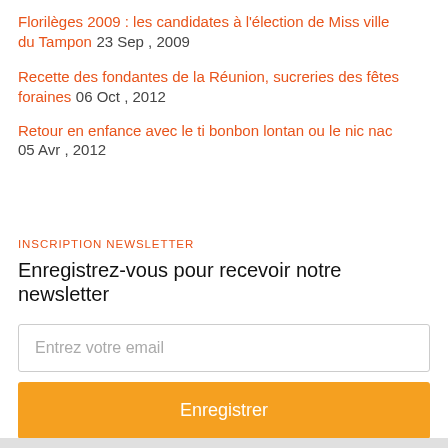Florilèges 2009 : les candidates à l'élection de Miss ville du Tampon 23 Sep , 2009
Recette des fondantes de la Réunion, sucreries des fêtes foraines 06 Oct , 2012
Retour en enfance avec le ti bonbon lontan ou le nic nac 05 Avr , 2012
Inscription Newsletter
Enregistrez-vous pour recevoir notre newsletter
Entrez votre email
Enregistrer
powered by MailMunch